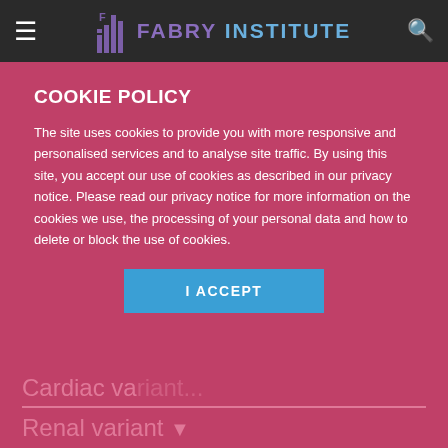FABRY INSTITUTE
COOKIE POLICY
The site uses cookies to provide you with more responsive and personalised services and to analyse site traffic. By using this site, you accept our use of cookies as described in our privacy notice. Please read our privacy notice for more information on the cookies we use, the processing of your personal data and how to delete or block the use of cookies.
I ACCEPT
Cardiac va...
Renal variant...